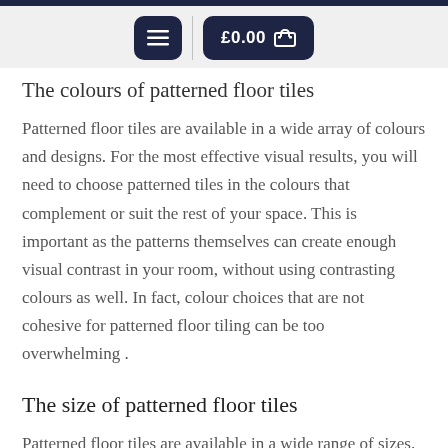Navigation bar with menu and cart (£0.00)
The colours of patterned floor tiles
Patterned floor tiles are available in a wide array of colours and designs. For the most effective visual results, you will need to choose patterned tiles in the colours that complement or suit the rest of your space. This is important as the patterns themselves can create enough visual contrast in your room, without using contrasting colours as well. In fact, colour choices that are not cohesive for patterned floor tiling can be too overwhelming .
The size of patterned floor tiles
Patterned floor tiles are available in a wide range of sizes. From small, mosaic like patterned tiles, to large format floor tiles, the size variety can be an important consideration. For large rooms and spaces, large format patterned floor tiles